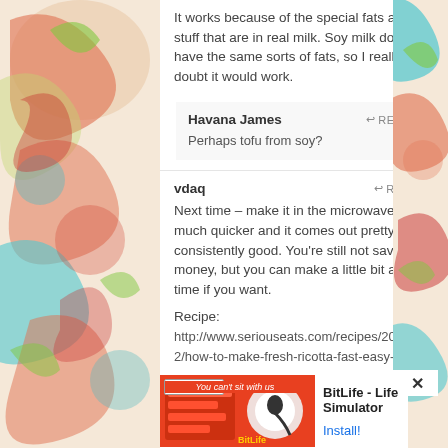It works because of the special fats and stuff that are in real milk. Soy milk doesn't have the same sorts of fats, so I really doubt it would work.
Havana James
↩ REPLY
Perhaps tofu from soy?
vdaq
↩ REPLY
Next time – make it in the microwave! It's much quicker and it comes out pretty consistently good. You're still not saving money, but you can make a little bit at a time if you want.
Recipe:
http://www.seriouseats.com/recipes/2010/02/how-to-make-fresh-ricotta-fast-easy-homemade-cheese-the-food-lab-recipe.html
mcooksey7
↩ REPLY
[Figure (other): Mobile app advertisement banner: BitLife - Life Simulator with Install button]